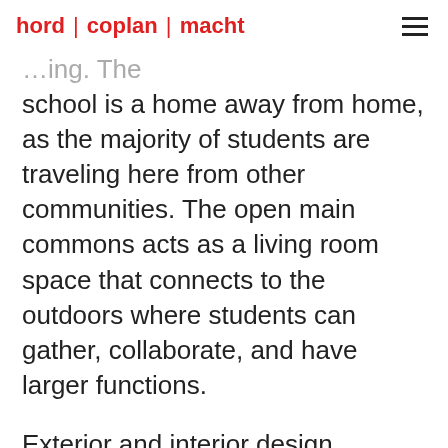hord | coplan | macht
…ing. The school is a home away from home, as the majority of students are traveling here from other communities. The open main commons acts as a living room space that connects to the outdoors where students can gather, collaborate, and have larger functions.
Exterior and interior design showcases a theme of craft and pride in workmanship through masonry and metal detailing. The